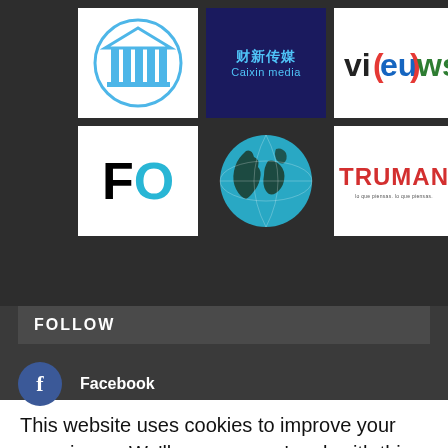[Figure (logo): Grid of 6 logos: institutional column logo, Caixin media, Vi(eu)ws, FO, globe, Truman]
FOLLOW
[Figure (logo): Facebook circle icon with Facebook label]
This website uses cookies to improve your experience. We'll assume you're ok with this, but you can opt-out if you wish.
Accept    Read More